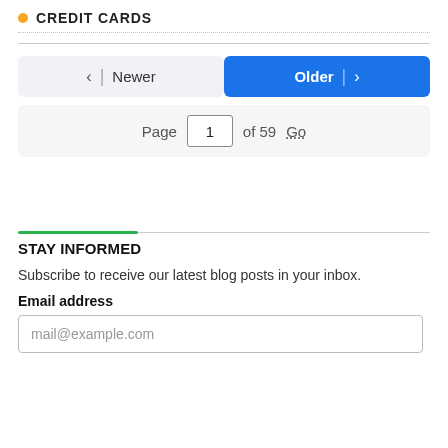CREDIT CARDS
< | Newer    Older | >
Page 1 of 59 Go
STAY INFORMED
Subscribe to receive our latest blog posts in your inbox.
Email address
mail@example.com